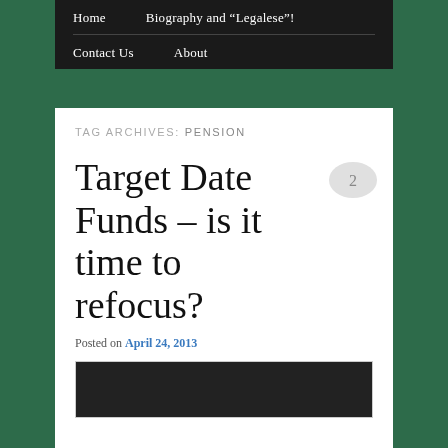Home    Biography and "Legalese"!
Contact Us    About
TAG ARCHIVES: PENSION
Target Date Funds – is it time to refocus?
Posted on April 24, 2013
[Figure (photo): Dark photograph visible at bottom of page]